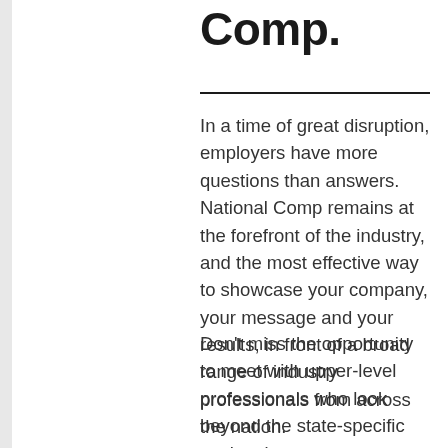Comp.
In a time of great disruption, employers have more questions than answers. National Comp remains at the forefront of the industry, and the most effective way to showcase your company, your message and your results, in front of a broad range of industry professionals from across the nation.
Don't miss the opportunity to meet with upper-level professionals who look beyond the state-specific workers' comp